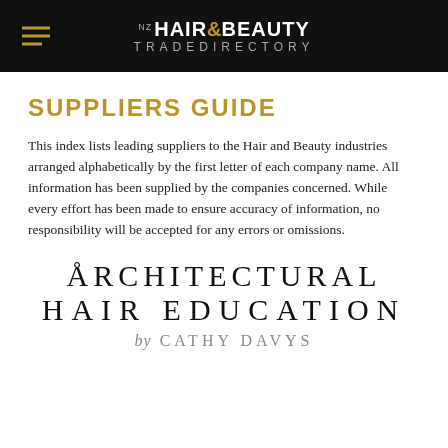NZ HAIR & BEAUTY TRADE DIRECTORY
SUPPLIERS GUIDE
This index lists leading suppliers to the Hair and Beauty industries arranged alphabetically by the first letter of each company name. All information has been supplied by the companies concerned. While every effort has been made to ensure accuracy of information, no responsibility will be accepted for any errors or omissions.
[Figure (logo): Architectural Hair Education by Cathy Davys logo — stylized serif text in black and grey]